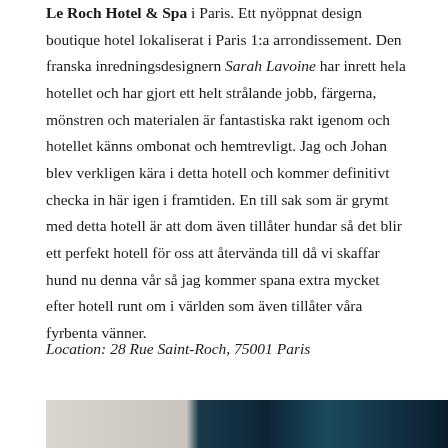Le Roch Hotel & Spa i Paris. Ett nyöppnat design boutique hotel lokaliserat i Paris 1:a arrondissement. Den franska inredningsdesignern Sarah Lavoine har inrett hela hotellet och har gjort ett helt strålande jobb, färgerna, mönstren och materialen är fantastiska rakt igenom och hotellet känns ombonat och hemtrevligt. Jag och Johan blev verkligen kära i detta hotell och kommer definitivt checka in här igen i framtiden. En till sak som är grymt med detta hotell är att dom även tillåter hundar så det blir ett perfekt hotell för oss att återvända till då vi skaffar hund nu denna vår så jag kommer spana extra mycket efter hotell runt om i världen som även tillåter våra fyrbenta vänner.
Location: 28 Rue Saint-Roch, 75001 Paris
[Figure (photo): Interior photo of Le Roch Hotel & Spa showing a light-colored room section on the left and a dark teal/navy section on the right]